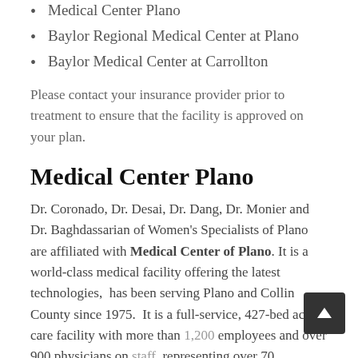Medical Center Plano
Baylor Regional Medical Center at Plano
Baylor Medical Center at Carrollton
Please contact your insurance provider prior to treatment to ensure that the facility is approved on your plan.
Medical Center Plano
Dr. Coronado, Dr. Desai, Dr. Dang, Dr. Monier and Dr. Baghdassarian of Women’s Specialists of Plano are affiliated with Medical Center of Plano. It is a world-class medical facility offering the latest technologies,  has been serving Plano and Collin County since 1975.  It is a full-service, 427-bed acute-care facility with more than 1,200 employees and over 900 physicians on staff, representing over 70 specialties and